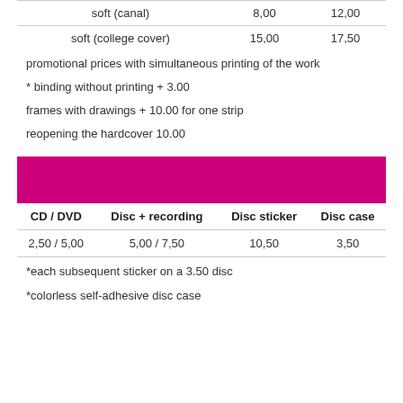|  |  |  |
| --- | --- | --- |
| soft (canal) | 8,00 | 12,00 |
| soft (college cover) | 15,00 | 17,50 |
promotional prices with simultaneous printing of the work
* binding without printing + 3.00
frames with drawings + 10.00 for one strip
reopening the hardcover 10.00
[Figure (other): Pink/magenta horizontal banner bar]
| CD / DVD | Disc + recording | Disc sticker | Disc case |
| --- | --- | --- | --- |
| 2,50 / 5,00 | 5,00 / 7,50 | 10,50 | 3,50 |
*each subsequent sticker on a 3.50 disc
*colorless self-adhesive disc case